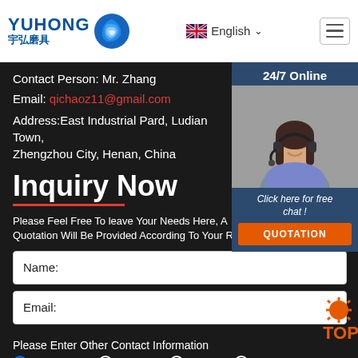[Figure (logo): Yuhong logo with blue wave icon and Chinese text 宇弘磨具]
English
Contact Person: Mr. Zhang
Email: qichaoz11@gmail.com
Address:East Industrial Pard, Ludian Town, Zhengzhou City, Henan, China
Inquiry Now
Please Feel Free To leave Your Needs Here, A Quotation Will Be Provided According To Your R
Name:
Email:
Please Enter Other Contact Information
Whatsapp
Wechat
Skype
Viber
[Figure (photo): Customer service representative with headset, smiling. Shows 24/7 Online label and Click here for free chat text with QUOTATION button.]